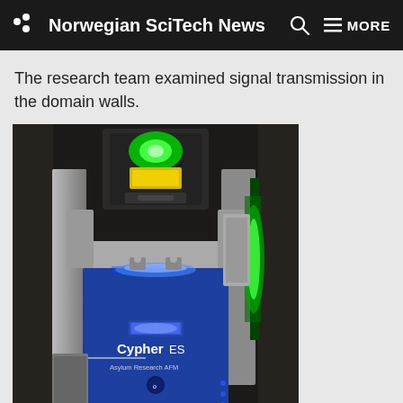Norwegian SciTech News MORE
The research team examined signal transmission in the domain walls.
[Figure (photo): Photograph of a Cypher ES Asylum Research AFM (Atomic Force Microscope) instrument. The instrument is mounted on a dark enclosure. It features a blue body with glowing blue LED lights, a green laser emitting from a black module at the top, and a display panel. The instrument is labeled 'Cypher ES' and 'Asylum Research AFM' in white text on the blue body.]